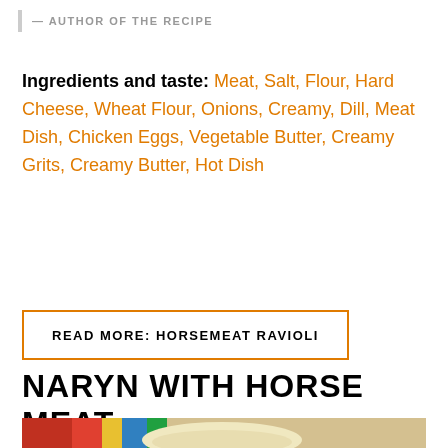— AUTHOR OF THE RECIPE
Ingredients and taste: Meat, Salt, Flour, Hard Cheese, Wheat Flour, Onions, Creamy, Dill, Meat Dish, Chicken Eggs, Vegetable Butter, Creamy Grits, Creamy Butter, Hot Dish
READ MORE: HORSEMEAT RAVIOLI
NARYN WITH HORSE MEAT
[Figure (photo): A bowl of naryn with horse meat dish, with colorful fabric in the background and a white container visible]